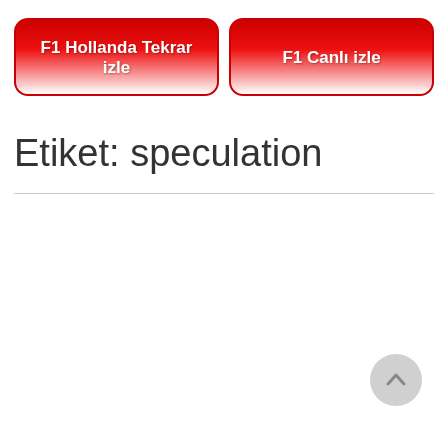[Figure (other): Two red gradient rounded-rectangle buttons side by side: 'F1 Hollanda Tekrar izle' on the left and 'F1 Canlı izle' on the right]
Etiket: speculation
[Figure (other): A circular grey scroll-to-top button with an upward chevron arrow, positioned at bottom right]